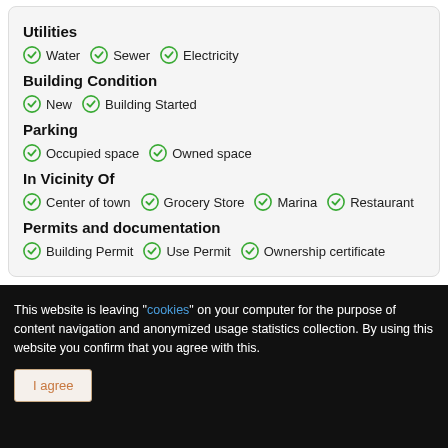Utilities
Water, Sewer, Electricity
Building Condition
New, Building Started
Parking
Occupied space, Owned space
In Vicinity Of
Center of town, Grocery Store, Marina, Restaurant
Permits and documentation
Building Permit, Use Permit, Ownership certificate
This website is leaving "cookies" on your computer for the purpose of content navigation and anonymized usage statistics collection. By using this website you confirm that you agree with this.
I agree